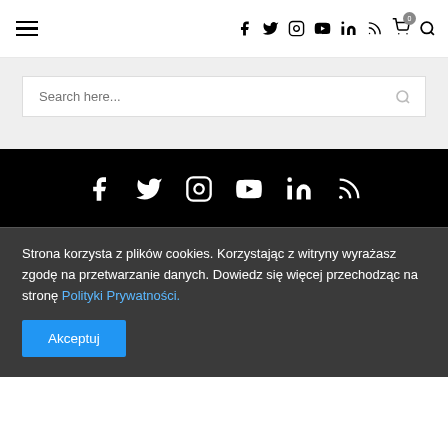Navigation header with hamburger menu and social/utility icons
[Figure (screenshot): Search input box with placeholder 'Search here...' and search icon]
[Figure (infographic): Footer social media icons on black background: Facebook, Twitter, Instagram, YouTube, LinkedIn, RSS]
Strona korzysta z plików cookies. Korzystając z witryny wyrażasz zgodę na przetwarzanie danych. Dowiedz się więcej przechodząc na stronę Polityki Prywatności.
Akceptuj